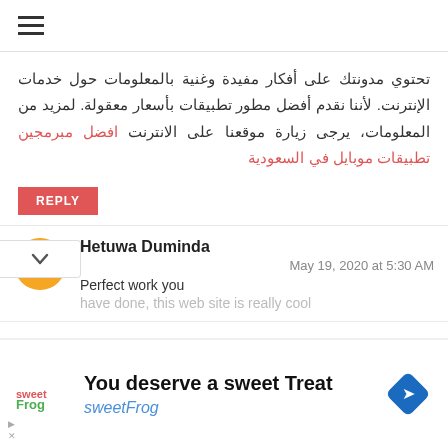≡ (hamburger menu)
تحتوي مدونتك على أفكار مفيدة وغنية بالمعلومات حول خدمات الإنترنت. لأننا نقدم أفضل مطور تطبيقات بأسعار معقولة. لمزيد من المعلومات، يرجى زيارة موقعنا على الانترنت افضل مبرمجين تطبيقات موبايل في السعودية
REPLY
Hetuwa Duminda
May 19, 2020 at 5:30 AM
Perfect work you
have done, this web site is really cool
[Figure (infographic): Advertisement banner: 'You deserve a sweet Treat' with sweetFrog logo and diamond navigation icon]